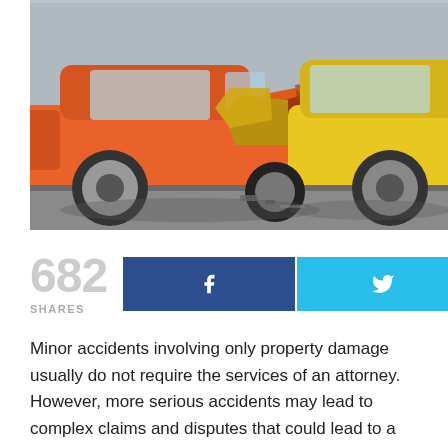[Figure (photo): Two cars involved in a collision — an orange car on the left and a yellow car on the right, front ends crumpled together from a head-on or side impact, viewed from a low angle.]
682
SHARES
Minor accidents involving only property damage usually do not require the services of an attorney. However, more serious accidents may lead to complex claims and disputes that could lead to a lawsuit. These are three of the reason you may want to hire an attorney after an auto accident.